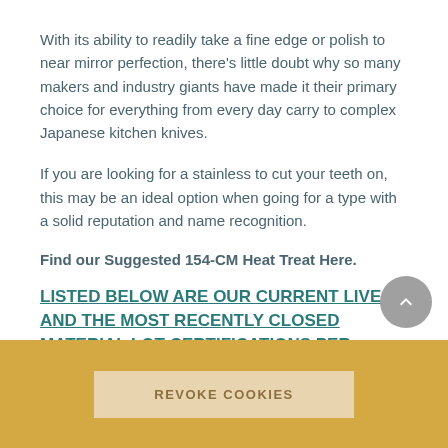With its ability to readily take a fine edge or polish to near mirror perfection, there's little doubt why so many makers and industry giants have made it their primary choice for everything from every day carry to complex Japanese kitchen knives.
If you are looking for a stainless to cut your teeth on, this may be an ideal option when going for a type with a solid reputation and name recognition.
Find our Suggested 154-CM Heat Treat Here.
LISTED BELOW ARE OUR CURRENT LIVE AND THE MOST RECENTLY CLOSED MATERIAL LOT CERTIFICATIONS PER THICKNESS:
REVOKE COOKIES